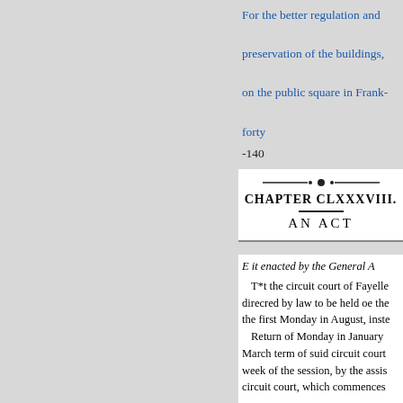For the better regulation and preservation of the buildings, on the public square in Frank-forty
-140
CHAPTER CLXXXVIII.
AN ACT
E it enacted by the General A
T*t the circuit court of Fayelle direcred by law to be held oe the the first Monday in August, inste
Return of Monday in January March term of suid circuit court week of the session, by the assis circuit court, which commences
Sec. 2. Be it further enacted, Tha